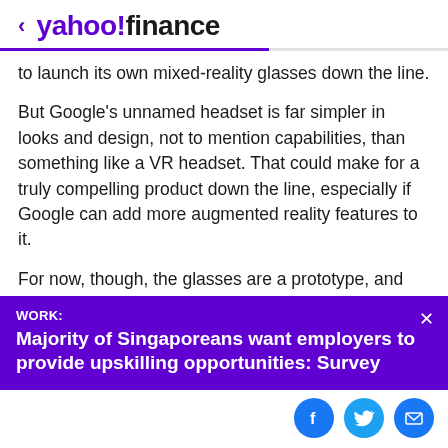< yahoo!finance
to launch its own mixed-reality glasses down the line.
But Google's unnamed headset is far simpler in looks and design, not to mention capabilities, than something like a VR headset. That could make for a truly compelling product down the line, especially if Google can add more augmented reality features to it.
For now, though, the glasses are a prototype, and until we hear otherwise, it's best to assume the company will
[Figure (infographic): Purple ad banner with close button. Label 'WORK:' followed by headline 'Majority of Singaporeans want employers to provide upskilling opportunities: Survey']
[Figure (infographic): Social sharing buttons: Facebook (blue circle), Twitter (light blue circle), Email (blue circle)]